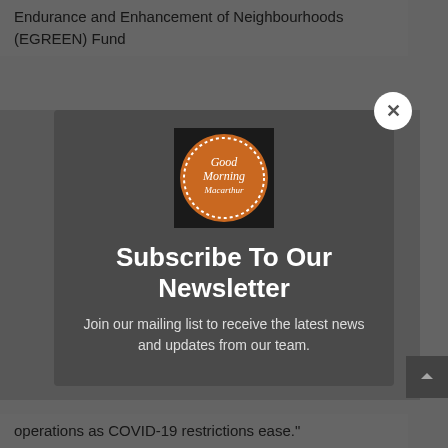Endurance and Enhancement of Neighbourhoods (EGREEN) Fund
[Figure (logo): Good Morning Macarthur circular orange logo with dotted white border]
Subscribe To Our Newsletter
Join our mailing list to receive the latest news and updates from our team.
operations as COVID-19 restrictions ease."